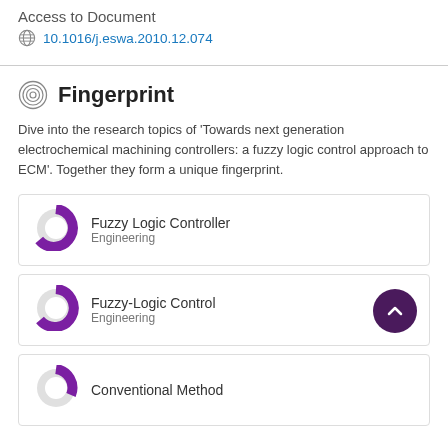Access to Document
10.1016/j.eswa.2010.12.074
Fingerprint
Dive into the research topics of 'Towards next generation electrochemical machining controllers: a fuzzy logic control approach to ECM'. Together they form a unique fingerprint.
Fuzzy Logic Controller
Engineering
Fuzzy-Logic Control
Engineering
Conventional Method